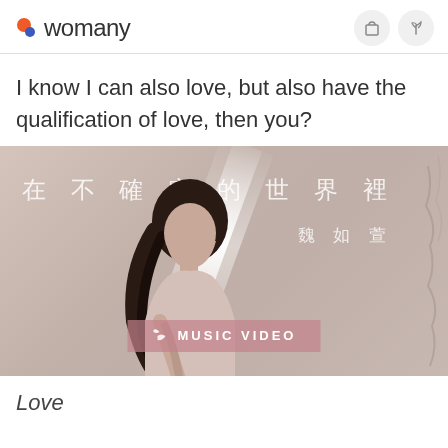womany
I know I can also love, but also have the qualification of love, then you?
[Figure (photo): Music video promotional image for 魏如萱 (Wei Ru Xuan) showing Chinese text '在不確定的世界裡' (In the uncertain world) with a woman looking upward toward a light beam, and a 'MUSIC VIDEO' badge overlay]
Love